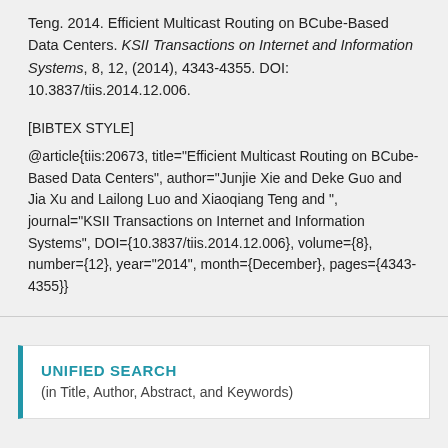Teng. 2014. Efficient Multicast Routing on BCube-Based Data Centers. KSII Transactions on Internet and Information Systems, 8, 12, (2014), 4343-4355. DOI: 10.3837/tiis.2014.12.006.
[BIBTEX STYLE]
@article{tiis:20673, title="Efficient Multicast Routing on BCube-Based Data Centers", author="Junjie Xie and Deke Guo and Jia Xu and Lailong Luo and Xiaoqiang Teng and ", journal="KSII Transactions on Internet and Information Systems", DOI={10.3837/tiis.2014.12.006}, volume={8}, number={12}, year="2014", month={December}, pages={4343-4355}}
UNIFIED SEARCH
(in Title, Author, Abstract, and Keywords)